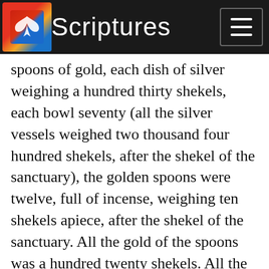Scriptures
spoons of gold, each dish of silver weighing a hundred thirty shekels, each bowl seventy (all the silver vessels weighed two thousand four hundred shekels, after the shekel of the sanctuary), the golden spoons were twelve, full of incense, weighing ten shekels apiece, after the shekel of the sanctuary. All the gold of the spoons was a hundred twenty shekels. All the oxen for the burnt offering were twelve bullocks, the rams twelve, the lambs of the first year twelve, with their grain offering, and the kids of the goats for sin offering, twelve. And all the oxen for the sacrifice of the peace offerings were twenty-four bullocks, the rams sixty, the he-goats sixty, the lambs of the first year sixty. This was the dedication of the altar, after it was anointed.